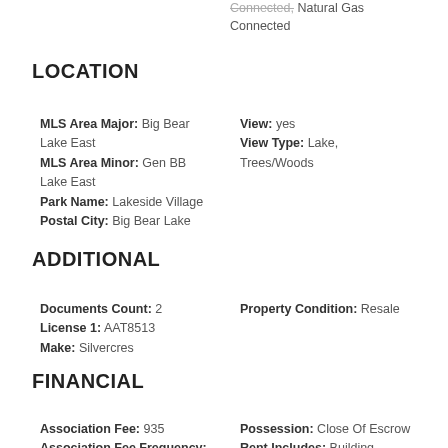Connected, Natural Gas Connected
LOCATION
MLS Area Major: Big Bear Lake East
MLS Area Minor: Gen BB Lake East
Park Name: Lakeside Village
Postal City: Big Bear Lake
View: yes
View Type: Lake, Trees/Woods
ADDITIONAL
Documents Count: 2
License 1: AAT8513
Make: Silvercres
Property Condition: Resale
FINANCIAL
Association Fee: 935
Association Fee Frequency: Monthly
Possession: Close Of Escrow
Rent Includes: Building Maintenance, Common Area Maintenance, Snow